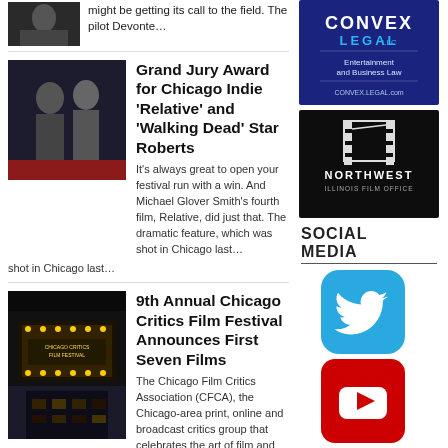[Figure (photo): Partial thumbnail of article at top, dark person photo]
might be getting its call to the field. The pilot Devonte…
[Figure (photo): Two men posing together at a film festival on a red carpet]
Grand Jury Award for Chicago Indie 'Relative' and 'Walking Dead' Star Roberts
It's always great to open your festival run with a win. And Michael Glover Smith's fourth film, Relative, did just that. The dramatic feature, which was shot in Chicago last…
[Figure (photo): Movie theater marquee with bright lights at night]
9th Annual Chicago Critics Film Festival Announces First Seven Films
The Chicago Film Critics Association (CFCA), the Chicago-area print, online and broadcast critics group that celebrates the art of film and film criticism, announces today the first seven films selected…
[Figure (logo): Convex Legal LLC - Entertainment and Business Law - CONVEX.LEGAL.com logo on dark blue background]
[Figure (logo): Northwest Illinois Film Office logo on black background]
SOCIAL MEDIA
[Figure (logo): Twitter bird icon on blue rounded square background]
[Figure (logo): YouTube play button icon on red rounded square background]
[Figure (logo): Facebook 'f' icon on dark blue rounded square background (partial)]